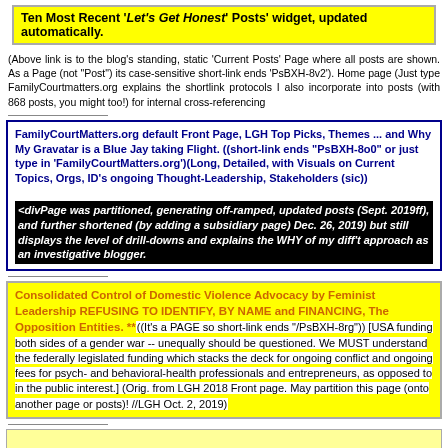Ten Most Recent 'Let's Get Honest' Posts' widget, updated automatically.
(Above link is to the blog's standing, static 'Current Posts' Page where all posts are shown. As a Page (not "Post") its case-sensitive short-link ends 'PsBXH-8v2'). Home page (Just type FamilyCourtmatters.org explains the shortlink protocols I also incorporate into posts (with 868 posts, you might too!) for internal cross-referencing
FamilyCourtMatters.org default Front Page, LGH Top Picks, Themes ... and Why My Gravatar is a Blue Jay taking Flight. ((short-link ends "PsBXH-8o0" or just type in 'FamilyCourtMatters.org')(Long, Detailed, with Visuals on Current Topics, Orgs, ID's ongoing Thought-Leadership, Stakeholders (sic))
<div>Page was partitioned, generating off-ramped, updated posts (Sept. 2019ff), and further shortened (by adding a subsidiary page) Dec. 26, 2019) but still displays the level of drill-downs and explains the WHY of my diff't approach as an investigative blogger.
Consolidated Control of Domestic Violence Advocacy by Feminist Leadership REFUSING TO IDENTIFY, BY NAME and FINANCING, The Opposition Entities. **((It's a PAGE so short-link ends "/PsBXH-8rg")) [USA funding both sides of a gender war -- unequally should be questioned. We MUST understand the federally legislated funding which stacks the deck for ongoing conflict and ongoing fees for psych- and behavioral-health professionals and entrepreneurs, as opposed to in the public interest.] (Orig. from LGH 2018 Front page. May partition this page (onto another page or posts)! //LGH Oct. 2, 2019)